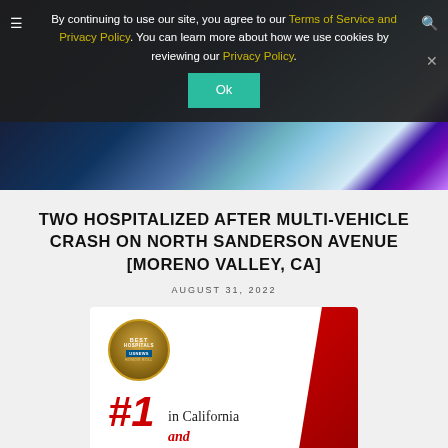[Figure (photo): Hero image of ambulance/emergency vehicle with blue light streaks motion blur background]
By continuing to use our site, you agree to our Terms of Service and Privacy Policy. You can learn more about how we use cookies by reviewing our Privacy Policy.
TWO HOSPITALIZED AFTER MULTI-VEHICLE CRASH ON NORTH SANDERSON AVENUE [MORENO VALLEY, CA]
AUGUST 31, 2022
[Figure (advertisement): US News Best Hospitals Honor Roll badge advertisement showing #1 in California and [more text cut off]]